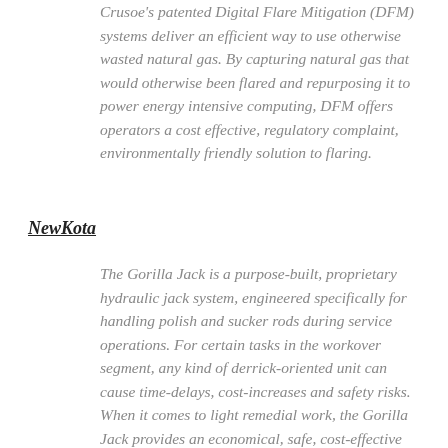Crusoe's patented Digital Flare Mitigation (DFM) systems deliver an efficient way to use otherwise wasted natural gas. By capturing natural gas that would otherwise been flared and repurposing it to power energy intensive computing, DFM offers operators a cost effective, regulatory complaint, environmentally friendly solution to flaring.
NewKota
The Gorilla Jack is a purpose-built, proprietary hydraulic jack system, engineered specifically for handling polish and sucker rods during service operations. For certain tasks in the workover segment, any kind of derrick-oriented unit can cause time-delays, cost-increases and safety risks. When it comes to light remedial work, the Gorilla Jack provides an economical, safe, cost-effective alternative to using large oil and gas service equipment, allowing clients to focus their rig fleets